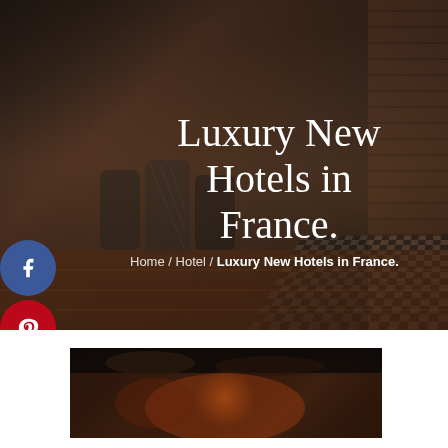[Figure (photo): Dark luxury hotel interior with checkered floor, wooden surfaces, ornate chairs, and brick wall visible on right side. Dim atmospheric lighting.]
Luxury New Hotels in France.
Home / Hotel / Luxury New Hotels in France.
[Figure (photo): Partial view of a luxury hotel interior, dark toned with warm accent lighting, showing ceiling ducts and rich reddish-brown decor.]